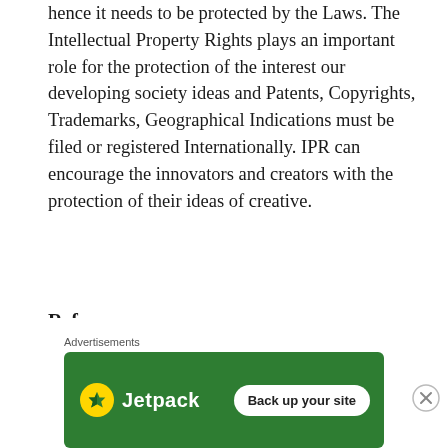hence it needs to be protected by the Laws. The Intellectual Property Rights plays an important role for the protection of the interest our developing society ideas and Patents, Copyrights, Trademarks, Geographical Indications must be filed or registered Internationally. IPR can encourage the innovators and creators with the protection of their ideas of creative.
Reference
1. https://www.mondaq.com/india/copyright/978858/historical-development-of-law-of-
Advertisements
[Figure (other): Jetpack advertisement banner with green background showing Jetpack logo and 'Back up your site' button]